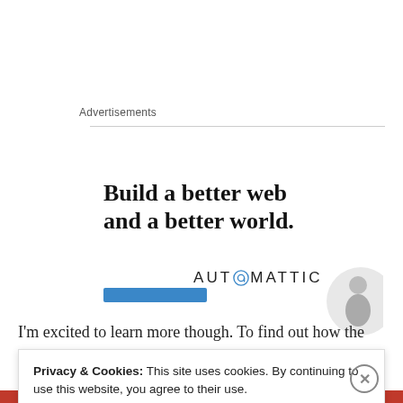Advertisements
[Figure (logo): Automattic logo with circular compass icon, followed by headline: Build a better web and a better world. Blue button below. Partial image of a person at right.]
I'm excited to learn more though. To find out how the
Privacy & Cookies: This site uses cookies. By continuing to use this website, you agree to their use.
To find out more, including how to control cookies, see here: Cookie Policy
[Close and accept]